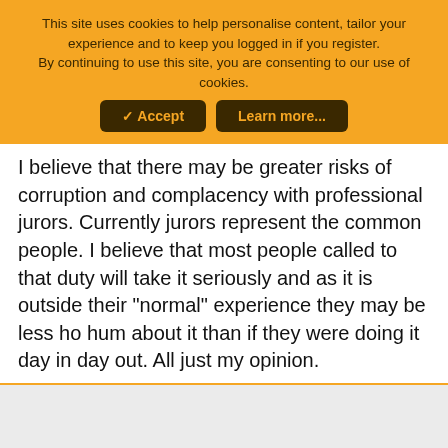This site uses cookies to help personalise content, tailor your experience and to keep you logged in if you register. By continuing to use this site, you are consenting to our use of cookies.
✓ Accept   Learn more...
I believe that there may be greater risks of corruption and complacency with professional jurors. Currently jurors represent the common people. I believe that most people called to that duty will take it seriously and as it is outside their "normal" experience they may be less ho hum about it than if they were doing it day in day out. All just my opinion.